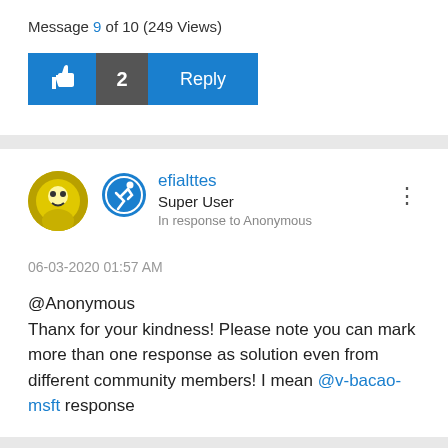Message 9 of 10 (249 Views)
[Figure (screenshot): Like button (thumbs up icon in blue), count badge showing 2 in dark gray, and a blue Reply button]
efialttes
Super User
In response to Anonymous
06-03-2020 01:57 AM
@Anonymous
Thanx for your kindness! Please note you can mark more than one response as solution even from different community members! I mean @v-bacao-msft response